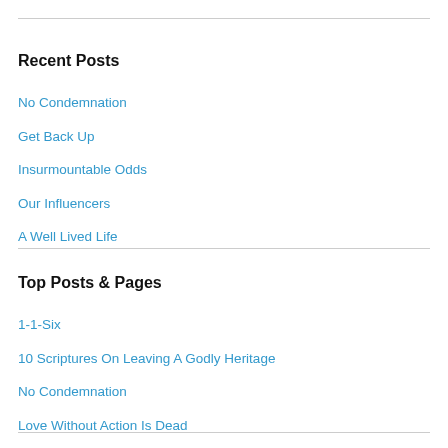Recent Posts
No Condemnation
Get Back Up
Insurmountable Odds
Our Influencers
A Well Lived Life
Top Posts & Pages
1-1-Six
10 Scriptures On Leaving A Godly Heritage
No Condemnation
Love Without Action Is Dead
Habitual Fellowship